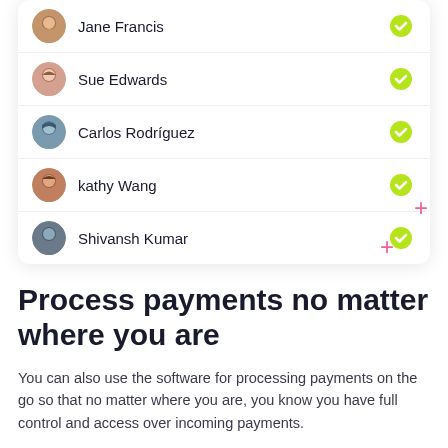[Figure (screenshot): A UI card showing a list of people with avatars and green checkmark icons: Jane Francis, Sue Edwards, Carlos Rodríguez, kathy Wang, Shivansh Kumar]
Process payments no matter where you are
You can also use the software for processing payments on the go so that no matter where you are, you know you have full control and access over incoming payments.
Your gym management software should give you clarity